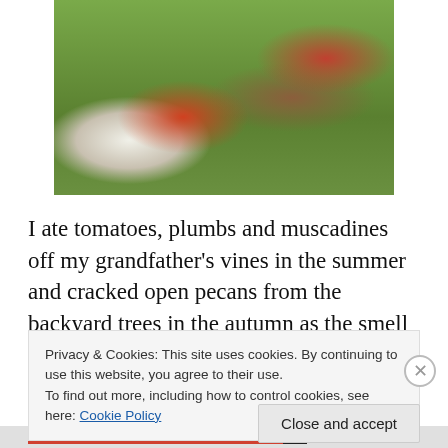[Figure (photo): A child in a red shirt sitting on a swing holding a Snoopy stuffed animal, outdoors in a backyard with green grass, trees, and a red metal swing set frame.]
I ate tomatoes, plumbs and muscadines off my grandfather's vines in the summer and cracked open pecans from the backyard trees in the autumn as the smell of burning leaves drifted through the air. I spent quality
Privacy & Cookies: This site uses cookies. By continuing to use this website, you agree to their use.
To find out more, including how to control cookies, see here: Cookie Policy
Close and accept